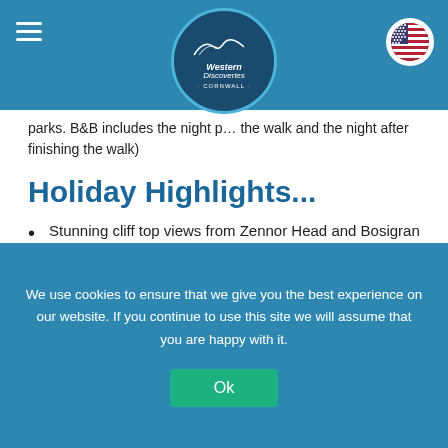Western Discoveries Cornwall (logo)
parks. B&B includes the night p… the walk and the night after finishing the walk)
Holiday Highlights...
Stunning cliff top views from Zennor Head and Bosigran
Portherras Beach is a real gem
The atmospheric Chun Quoit (neolithic monument)
The mystery of the Men an tol
Watching the surfers at Gwenver beach
We use cookies to ensure that we give you the best experience on our website. If you continue to use this site we will assume that you are happy with it.